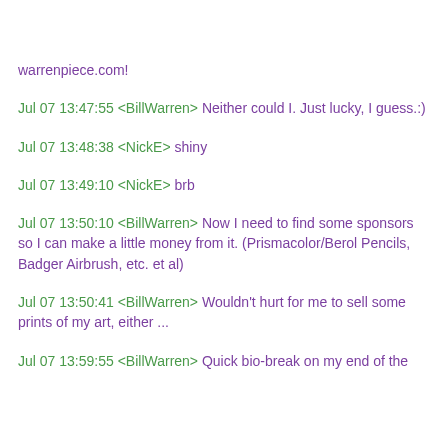≡
Jul 07 13:47:31 <NickE> Aye. Still can't believe nobody had taken warrenpiece.com!
Jul 07 13:47:55 <BillWarren> Neither could I. Just lucky, I guess.:)
Jul 07 13:48:38 <NickE> shiny
Jul 07 13:49:10 <NickE> brb
Jul 07 13:50:10 <BillWarren> Now I need to find some sponsors so I can make a little money from it. (Prismacolor/Berol Pencils, Badger Airbrush, etc. et al)
Jul 07 13:50:41 <BillWarren> Wouldn't hurt for me to sell some prints of my art, either ...
Jul 07 13:59:55 <BillWarren> Quick bio-break on my end of the